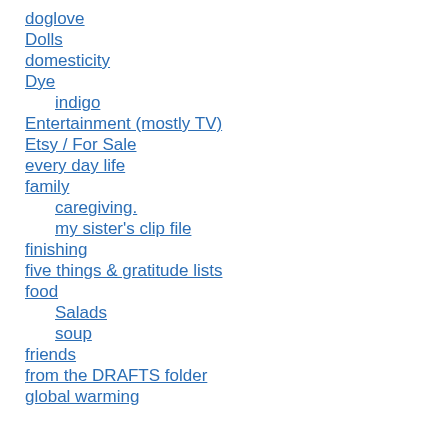doglove
Dolls
domesticity
Dye
indigo
Entertainment (mostly TV)
Etsy / For Sale
every day life
family
caregiving.
my sister's clip file
finishing
five things & gratitude lists
food
Salads
soup
friends
from the DRAFTS folder
global warming